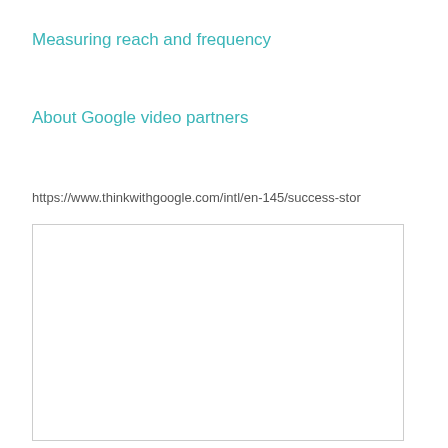Measuring reach and frequency
About Google video partners
https://www.thinkwithgoogle.com/intl/en-145/success-stor
[Figure (other): Empty white box with light gray border]